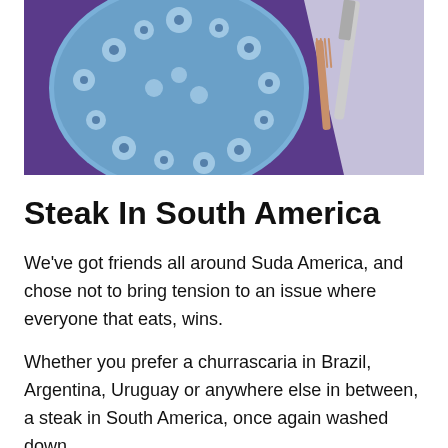[Figure (photo): Top-down view of a table setting with a blue and white floral patterned plate/placemat on a dark purple surface, with silverware (fork and knife) visible on the right side]
Steak In South America
We've got friends all around Suda America, and chose not to bring tension to an issue where everyone that eats, wins.
Whether you prefer a churrascaria in Brazil, Argentina, Uruguay or anywhere else in between, a steak in South America, once again washed down with a very heady glass of wine, is just wonderful.